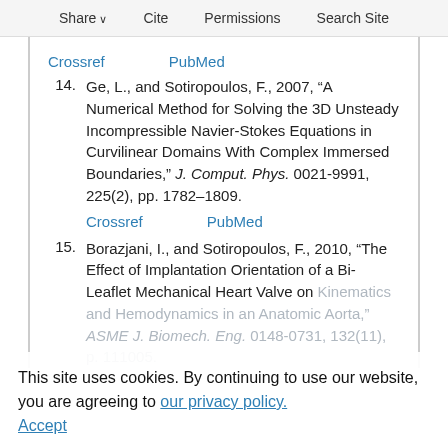Share  Cite  Permissions  Search Site
Crossref   PubMed
14. Ge, L., and Sotiropoulos, F., 2007, “A Numerical Method for Solving the 3D Unsteady Incompressible Navier-Stokes Equations in Curvilinear Domains With Complex Immersed Boundaries,” J. Comput. Phys. 0021-9991, 225(2), pp. 1782–1809.
Crossref   PubMed
15. Borazjani, I., and Sotiropoulos, F., 2010, “The Effect of Implantation Orientation of a Bi-Leaflet Mechanical Heart Valve on Kinematics and Hemodynamics in an Anatomic Aorta,” ASME J. Biomech. Eng. 0148-0731, 132(11), p. 111005.
This site uses cookies. By continuing to use our website, you are agreeing to our privacy policy.
Accept